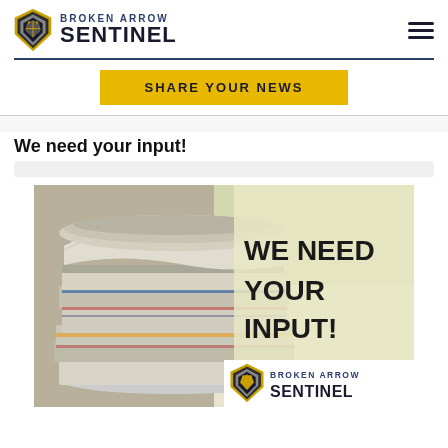BROKEN ARROW SENTINEL
SHARE YOUR NEWS
We need your input!
[Figure (photo): Stack of newspapers on left half, right half has text 'WE NEED YOUR INPUT!' in bold black on light yellow-green background. Broken Arrow Sentinel logo in bottom right corner.]